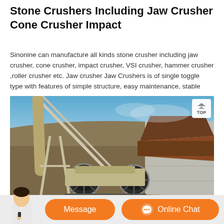Stone Crushers Including Jaw Crusher Cone Crusher Impact
Sinonine can manufacture all kinds stone crusher including jaw crusher, cone crusher, impact crusher, VSI crusher, hammer crusher ,roller crusher etc. Jaw crusher Jaw Crushers is of single toggle type with features of simple structure, easy maintenance, stable
[Figure (photo): Outdoor photo of a stone crusher / jaw crusher machine setup at a quarry site. Two large flywheel assemblies visible, mounted on a mobile chassis. Brown metal feeder/hopper on the right side against a concrete wall. Blue sky and brown hills in the background. A 'TOP' button is overlaid in the top-right corner of the image.]